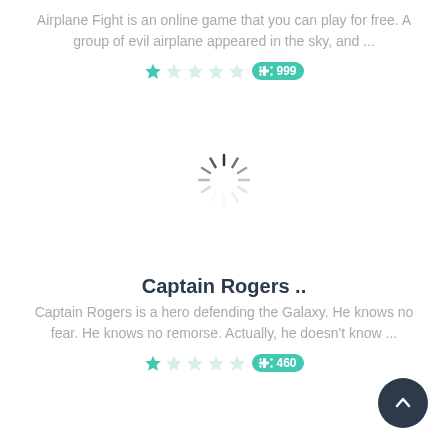Airplane Fight is an online game that you can play for free. A group of evil airplane appeared in the sky, and ...
[Figure (other): Star rating (1 star out of 5) and play count badge showing 999]
[Figure (other): Loading spinner animation]
Captain Rogers ..
Captain Rogers is a hero defending the Galaxy. He knows no fear. He knows no remorse. Actually, he doesn't know ...
[Figure (other): Star rating (1 star out of 5) and play count badge showing 460]
[Figure (other): Back to top button arrow pointing upward]